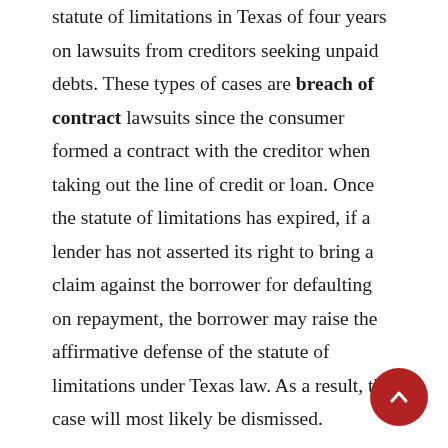statute of limitations in Texas of four years on lawsuits from creditors seeking unpaid debts. These types of cases are breach of contract lawsuits since the consumer formed a contract with the creditor when taking out the line of credit or loan. Once the statute of limitations has expired, if a lender has not asserted its right to bring a claim against the borrower for defaulting on repayment, the borrower may raise the affirmative defense of the statute of limitations under Texas law. As a result, the case will most likely be dismissed.
[Figure (other): Red circular scroll-to-top button with a white upward chevron arrow, positioned in the bottom-right corner of the page.]